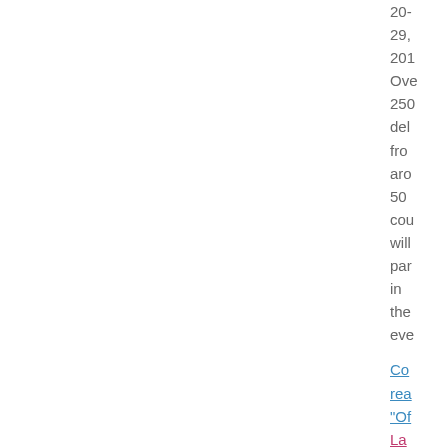20... 29, 201 Ove 250 del fro aro 50 cou will par in the eve
Co rea "Of La of PE 201 »